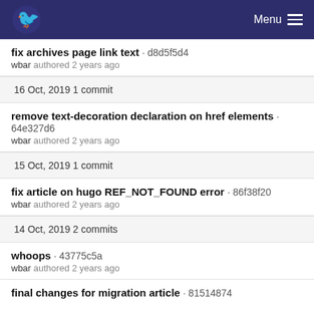Menu
fix archives page link text · d8d5f5d4
wbar authored 2 years ago
16 Oct, 2019 1 commit
remove text-decoration declaration on href elements · 64e327d6
wbar authored 2 years ago
15 Oct, 2019 1 commit
fix article on hugo REF_NOT_FOUND error · 86f38f20
wbar authored 2 years ago
14 Oct, 2019 2 commits
whoops · 43775c5a
wbar authored 2 years ago
final changes for migration article · 81514874